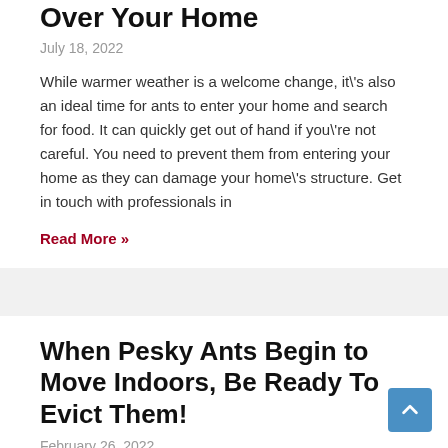Over Your Home
July 18, 2022
While warmer weather is a welcome change, it\'s also an ideal time for ants to enter your home and search for food. It can quickly get out of hand if you\'re not careful. You need to prevent them from entering your home as they can damage your home\'s structure. Get in touch with professionals in
Read More »
When Pesky Ants Begin to Move Indoors, Be Ready To Evict Them!
February 26, 2022
The spring season presents us with feelings of renewal and fresh beginnings. Spring is also the perfect time to get some heavier cleaning chores done, from window-washing to carpet cleaning. This wonderful season is also